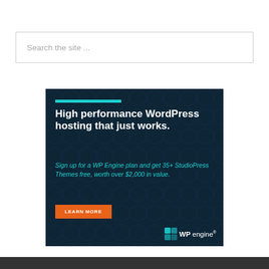Search the site ...
[Figure (illustration): WP Engine advertisement banner with dark navy background, teal accent bar, white bold headline 'High performance WordPress hosting that just works.', teal italic subtext 'Sign up for a WP Engine plan and get 35+ StudioPress Themes free, worth over $2,000 in value.', orange 'LEARN MORE' button, hexagon pattern background, and WP Engine logo at bottom right.]